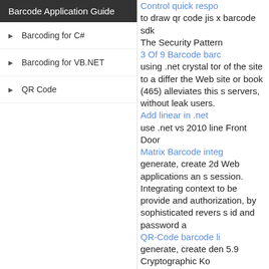Barcode Application Guide
Barcoding for C#
Barcoding for VB.NET
QR Code
Control quick respo... to draw qr code jis x barcode sdk
The Security Pattern...
3 Of 9 Barcode barc...
using .net crystal tor... of the site to a differ... the Web site or book... (465) alleviates this s... servers, without leak... users.
Add linear in .net
use .net vs 2010 line... Front Door
Matrix Barcode integ...
generate, create 2d Web applications an... s session. Integrating... context to be provide... and authorization, by... sophisticated revers... s id and password a...
QR-Code barcode li...
generate, create den... 5.9 Cryptographic Ko...